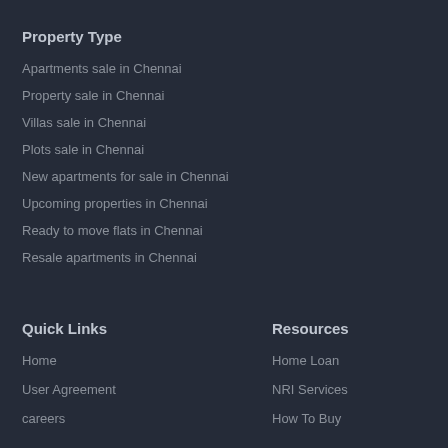Property Type
Apartments sale in Chennai
Property sale in Chennai
Villas sale in Chennai
Plots sale in Chennai
New apartments for sale in Chennai
Upcoming properties in Chennai
Ready to move flats in Chennai
Resale apartments in Chennai
Quick Links
Home
User Agreement
careers
Resources
Home Loan
NRI Services
How To Buy